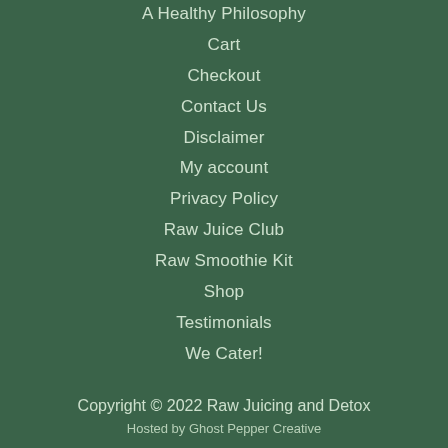A Healthy Philosophy
Cart
Checkout
Contact Us
Disclaimer
My account
Privacy Policy
Raw Juice Club
Raw Smoothie Kit
Shop
Testimonials
We Cater!
Copyright © 2022 Raw Juicing and Detox
Hosted by Ghost Pepper Creative
[Figure (logo): Broken image placeholder with alt text: designed with love by the Buddha Hut]